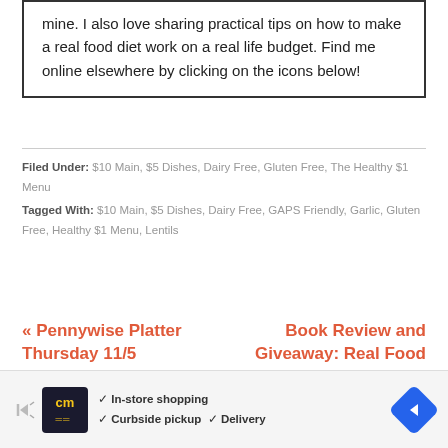mine. I also love sharing practical tips on how to make a real food diet work on a real life budget. Find me online elsewhere by clicking on the icons below!
Filed Under: $10 Main, $5 Dishes, Dairy Free, Gluten Free, The Healthy $1 Menu
Tagged With: $10 Main, $5 Dishes, Dairy Free, GAPS Friendly, Garlic, Gluten Free, Healthy $1 Menu, Lentils
« Pennywise Platter Thursday 11/5
Book Review and Giveaway: Real Food for Mother and…
[Figure (other): Advertisement banner for cm (store) with logo, checkmarks for In-store shopping, Curbside pickup, Delivery, and a navigation arrow icon]